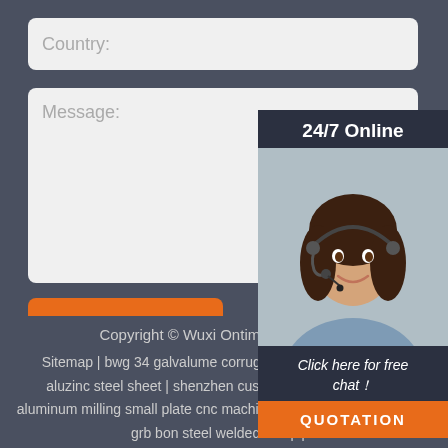Country:
Message:
Submit Now
[Figure (photo): 24/7 Online chat widget with customer service representative photo and 'Click here for free chat!' text and QUOTATION button]
Copyright © Wuxi Ontime Industrial C… | Sitemap | bwg 34 galvalume corrugated steel roofing sheet aluzinc steel sheet | shenzhen customised cnc machining aluminum milling small plate cnc machining service | hot sale api 5l grb bon steel welded erw pipe